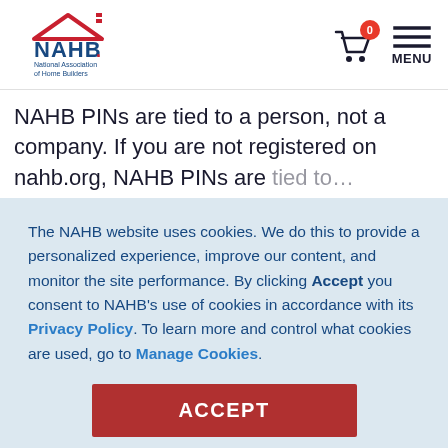[Figure (logo): NAHB National Association of Home Builders logo with red roof icon and blue text]
NAHB PINs are tied to a person, not a company. If you are not registered on nahb.org, NAHB PINs are tied to...
The NAHB website uses cookies. We do this to provide a personalized experience, improve our content, and monitor the site performance. By clicking Accept you consent to NAHB's use of cookies in accordance with its Privacy Policy. To learn more and control what cookies are used, go to Manage Cookies.
ACCEPT